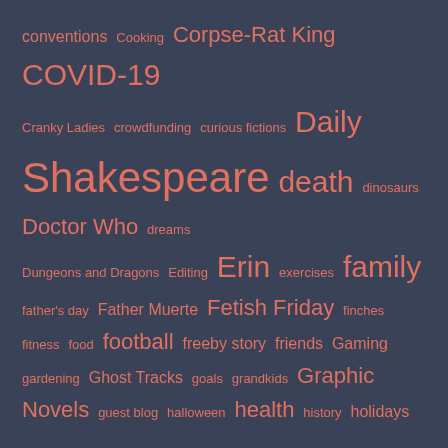[Figure (infographic): Tag cloud on dark blue-grey background with salmon/coral colored words in varying font sizes representing blog categories and topics. Words include: conventions, Cooking, Corpse-Rat King, COVID-19, Cranky Ladies, crowdfunding, curious fictions, Daily Shakespeare, death, dinosaurs, Doctor Who, dreams, Dungeons and Dragons, Editing, Erin, exercises, family, father's day, Father Muerte, Fetish Friday, finches, fitness, food, football, freeby story, friends, Gaming, gardening, Ghost Tracks, goals, grandkids, Graphic Novels, guest blog, halloween, health, history, holidays, house, humour, hwa, internet, interview, It Could Be You, Jerry Jarvis' Wig, Karratha, ksp, Lego, Lego 250 Reviews, links, Lyn, Magrit, Magwitch and Bugrat, Marching Dead, meme, Micropolis, Midnight Echo, mind meld, Ministry of Reformation, Mixed Movie Quotes, MOC, money, movies, Muerte and Divine, music, Nameless Project, nanowrimo, Next Big]